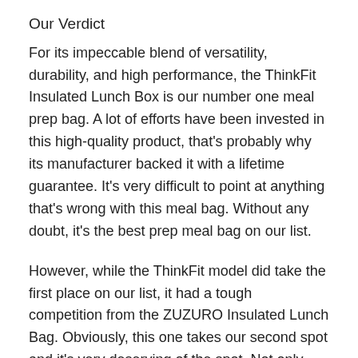Our Verdict
For its impeccable blend of versatility, durability, and high performance, the ThinkFit Insulated Lunch Box is our number one meal prep bag. A lot of efforts have been invested in this high-quality product, that's probably why its manufacturer backed it with a lifetime guarantee. It's very difficult to point at anything that's wrong with this meal bag. Without any doubt, it's the best prep meal bag on our list.
However, while the ThinkFit model did take the first place on our list, it had a tough competition from the ZUZURO Insulated Lunch Bag. Obviously, this one takes our second spot and it's very deserving of the spot. Not only does it feature a beautiful design, it is also the most durable option on this list. Featuring most of the things you want and lacking almost everything you don't